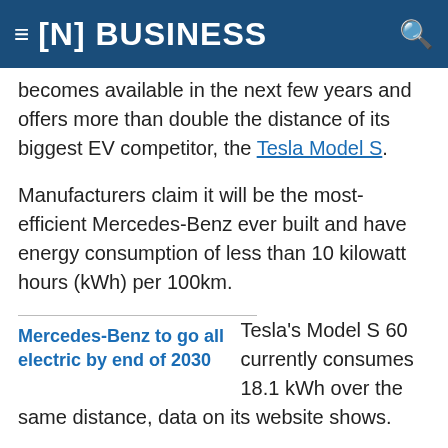[N] BUSINESS
becomes available in the next few years and offers more than double the distance of its biggest EV competitor, the Tesla Model S.
Manufacturers claim it will be the most-efficient Mercedes-Benz ever built and have energy consumption of less than 10 kilowatt hours (kWh) per 100km.
Mercedes-Benz to go all electric by end of 2030
Tesla's Model S 60 currently consumes 18.1 kWh over the same distance, data on its website shows.
"The Mercedes-Benz Vision EQXX is how we